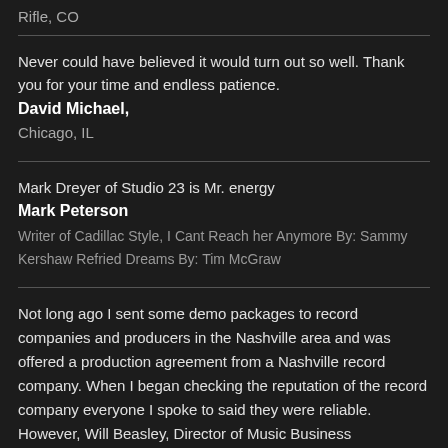Rifle, CO
Never could have believed it would turn out so well. Thank you for your time and endless patience.
David Michael,
Chicago, IL
Mark Dreyer of Studio 23 is Mr. energy
Mark Peterson
Writer of Cadillac Style, I Cant Reach her Anymore By: Sammy Kershaw Refried Dreams By: Tim McGraw
Not long ago I sent some demo packages to record companies and producers in the Nashville area and was offered a production agreement from a Nashville record company. When I began checking the reputation of the record company everyone I spoke to said they were reliable. However, Will Beasley, Director of Music Business Development at the Nashville Area Chamber of Commerce said the name of the